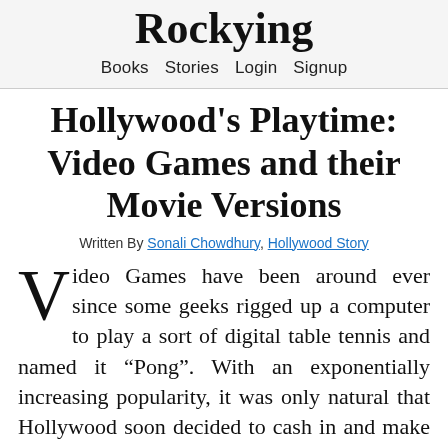Rockying
Books  Stories  Login  Signup
Hollywood's Playtime: Video Games and their Movie Versions
Written By Sonali Chowdhury, Hollywood Story
Video Games have been around ever since some geeks rigged up a computer to play a sort of digital table tennis and named it “Pong”. With an exponentially increasing popularity, it was only natural that Hollywood soon decided to cash in and make movies out of some best